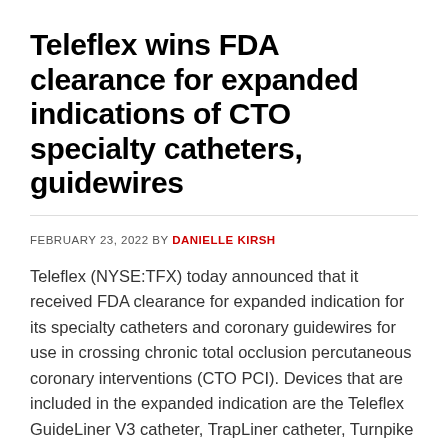Teleflex wins FDA clearance for expanded indications of CTO specialty catheters, guidewires
FEBRUARY 23, 2022 BY DANIELLE KIRSH
Teleflex (NYSE:TFX) today announced that it received FDA clearance for expanded indication for its specialty catheters and coronary guidewires for use in crossing chronic total occlusion percutaneous coronary interventions (CTO PCI). Devices that are included in the expanded indication are the Teleflex GuideLiner V3 catheter, TrapLiner catheter, Turnpike catheters, Spectre guidewire, Raider guidewire, Bandit guidewire, Warrior […]